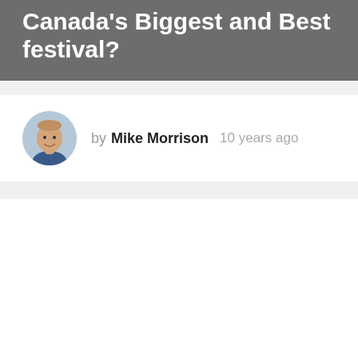Canada's Biggest and Best festival?
by Mike Morrison  10 years ago